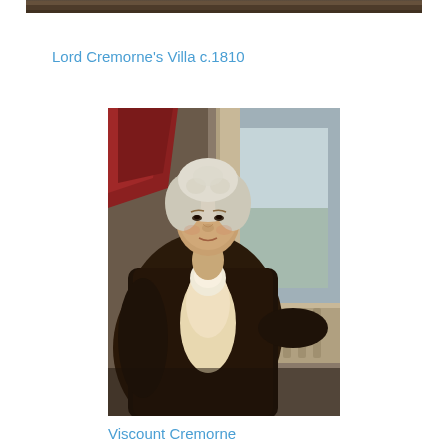[Figure (photo): Top edge of a painting or artwork, showing dark landscape or interior scene]
Lord Cremorne's Villa c.1810
[Figure (photo): Portrait painting of Viscount Cremorne, an older gentleman with white/grey powdered hair, wearing a dark brown coat with a white cravat, posed in front of a column with a landscape visible through an opening behind him. Red drapery visible on the left side.]
Viscount Cremorne